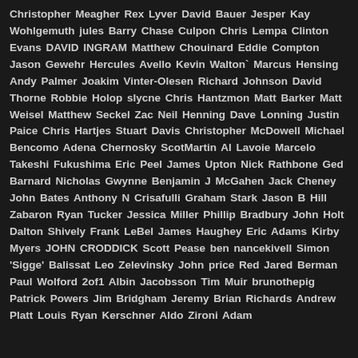Christopher Meagher Rex Lyver David Bauer Jesper Kay Wohlgemuth jules Barry Chase Culpon Chris Lempa Clinton Evans DAVID INGRAM Matthew Chouinard Eddie Compton Jason Gewehr Hercules Avello Kevin Walton` Marcus Hensing Andy Palmer Joakim Vinter-Olesen Richard Johnson David Thorne Robbie Holop slycne Chris Hantzmon Matt Barker Matt Weisel Matthew Seckel Zac Neil Henning Dave Lonning Justin Paice Chris Hartjes Stuart Davis Christopher McDowell Michael Bencomo Adena Chernosky ScotMartin Al Lavoie Marcelo Takeshi Fukushima Eric Peel James Upton Nick Rathbone Ged Barnard Nicholas Gwynne Benjamin J McGahen Jack Cheney John Bates Anthony N Crisafulli Graham Stark Jason B Hill Zabaron Ryan Tucker Jessica Miller Phillip Bradbury John Holt Dalton Shively Frank LeBel James Haughey Eric Adams Kirby Myers JOHN CRODDICK Scott Pease ben nancekivell Simon 'Sigge' Balissat Leo Zelevinsky John price Red Jared Berman Paul Wolford 2of1 Albin Jacobsson Tim Muir brunothepig Patrick Powers Jim Bridgham Jeremy Brian Richards Andrew Platt Louis Ryan Kerschner Aldo Zironi Adam